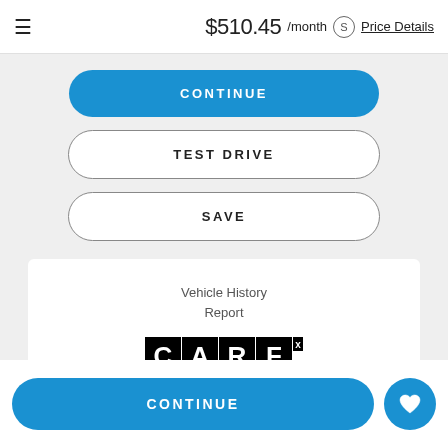≡  $510.45 /month  Price Details
CONTINUE
TEST DRIVE
SAVE
[Figure (logo): CARFAX Vehicle History Reports logo with black and white text on black background squares]
Vehicle History Report
CONTINUE